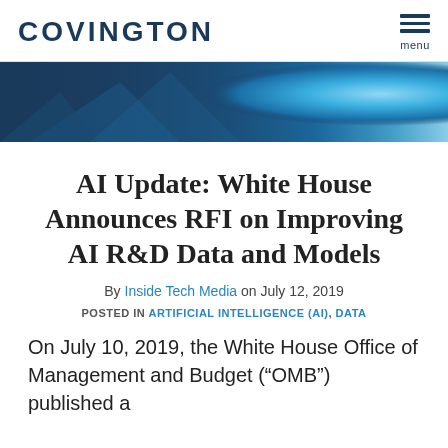COVINGTON
[Figure (photo): Blue abstract banner image with geometric shapes and globe/technology motif in teal and dark blue tones]
AI Update: White House Announces RFI on Improving AI R&D Data and Models
By Inside Tech Media on July 12, 2019
POSTED IN ARTIFICIAL INTELLIGENCE (AI), DATA
On July 10, 2019, the White House Office of Management and Budget (“OMB”) published a